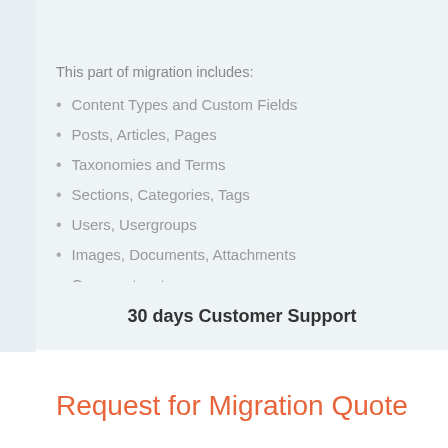This part of migration includes:
Content Types and Custom Fields
Posts, Articles, Pages
Taxonomies and Terms
Sections, Categories, Tags
Users, Usergroups
Images, Documents, Attachments
Comments, etc...
30 days Customer Support
Request for Migration Quote